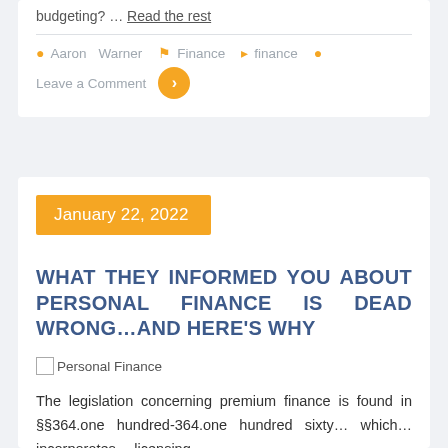budgeting? … Read the rest
Aaron  Warner  Finance  finance
Leave a Comment
January 22, 2022
WHAT THEY INFORMED YOU ABOUT PERSONAL FINANCE IS DEAD WRONG…AND HERE'S WHY
[Figure (illustration): Broken image placeholder labeled 'Personal Finance']
The legislation concerning premium finance is found in §§364.one hundred-364.one hundred sixty… which… incorporates… licensing